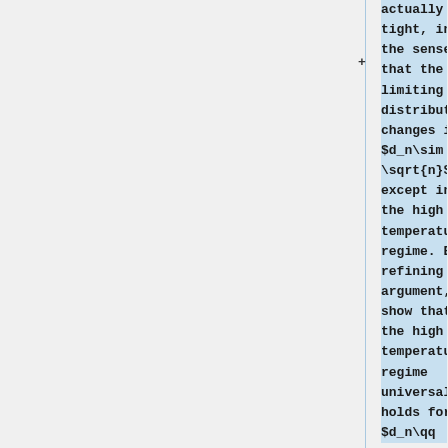actually tight, in the sense that the limiting distribution changes if $d_n\sim \sqrt{n}$ except in the high temperature regime. By refining our argument, we show that in the high temperature regime universality holds for $d_n\qq